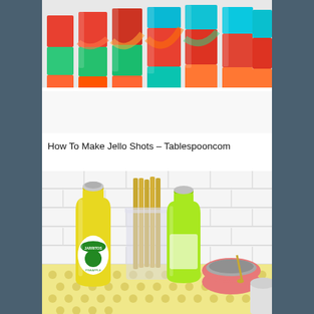[Figure (photo): Multiple colorful layered jello shots in clear plastic cups arranged on a white surface, showing swirls of red, green, orange, and blue/teal jello.]
How To Make Jello Shots – Tablespooncom
[Figure (photo): Two Jarritos soda bottles (pineapple flavor, yellow and lime green) with gold straws in a glass container on a yellow polka-dot tablecloth, alongside a pink bowl with a gold spoon and a gray cup, against a white subway tile background.]